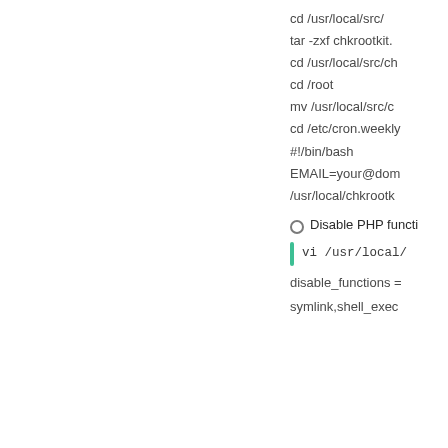cd /usr/local/src/
tar -zxf chkrootkit.
cd /usr/local/src/ch
cd /root
mv /usr/local/src/c
cd /etc/cron.weekly
#!/bin/bash
EMAIL=your@dom
/usr/local/chkrootk
Disable PHP functi
vi /usr/local/
disable_functions =
symlink,shell_exec